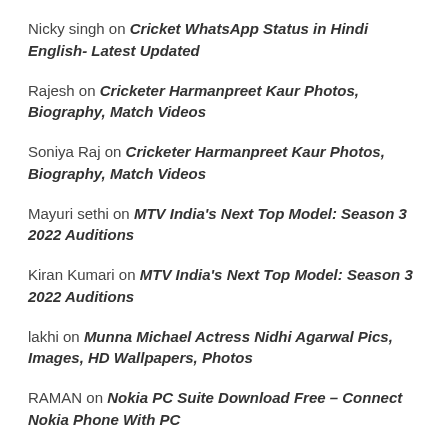Nicky singh on Cricket WhatsApp Status in Hindi English- Latest Updated
Rajesh on Cricketer Harmanpreet Kaur Photos, Biography, Match Videos
Soniya Raj on Cricketer Harmanpreet Kaur Photos, Biography, Match Videos
Mayuri sethi on MTV India's Next Top Model: Season 3 2022 Auditions
Kiran Kumari on MTV India's Next Top Model: Season 3 2022 Auditions
lakhi on Munna Michael Actress Nidhi Agarwal Pics, Images, HD Wallpapers, Photos
RAMAN on Nokia PC Suite Download Free – Connect Nokia Phone With PC
krish jain on RIMC (Rashtriya Indian Military College), Dehradun Class 8th Admission 2022